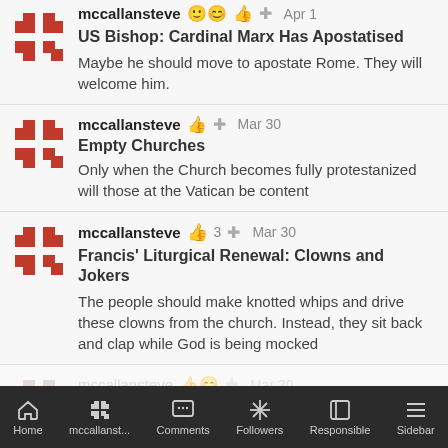mccallansteve | US Bishop: Cardinal Marx Has Apostatised | Maybe he should move to apostate Rome. They will welcome him.
mccallansteve | Mar 30 | Empty Churches | Only when the Church becomes fully protestanized will those at the Vatican be content
mccallansteve | 3 | Mar 30 | Francis' Liturgical Renewal: Clowns and Jokers | The people should make knotted whips and drive these clowns from the church. Instead, they sit back and clap while God is being mocked
mccallansteve | Mar 30 | Cardinal Marx Thinks Practised
Home | mccallanst... | Comments | Followers | Responsible | Sidebar